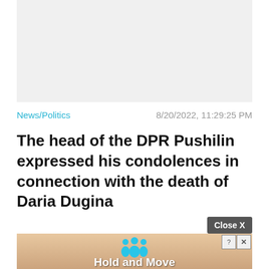[Figure (other): Gray rectangular image placeholder area at top of page]
News/Politics   8/20/2022, 11:29:25 PM
The head of the DPR Pushilin expressed his condolences in connection with the death of Daria Dugina
[Figure (screenshot): Close X button overlay and advertisement banner showing 'Hold and Move' with animated figures on wooden background]